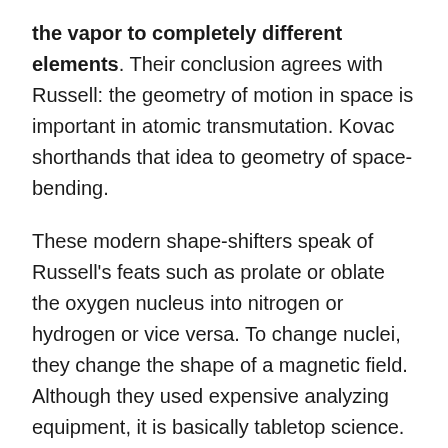the vapor to completely different elements. Their conclusion agrees with Russell: the geometry of motion in space is important in atomic transmutation. Kovac shorthands that idea to geometry of space-bending.
These modern shape-shifters speak of Russell's feats such as prolate or oblate the oxygen nucleus into nitrogen or hydrogen or vice versa. To change nuclei, they change the shape of a magnetic field. Although they used expensive analyzing equipment, it is basically tabletop science. No atom-smashing cyclotron needed; just a gentle nudge using the right frequencies. Focus and unfocus light-motion, create a vortex and control it.
Cold fusion researchers are also running across strange elements popping up in their own electrified brews. No one is proposing to make gold and upset world currencies, but